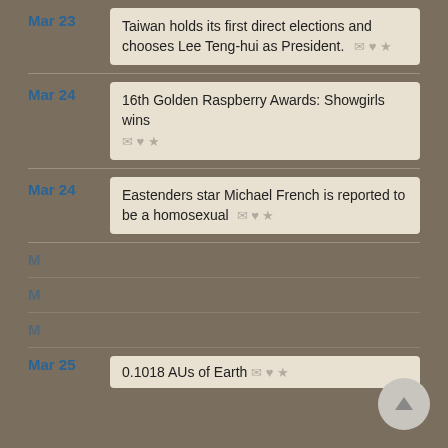Mar 23 — Taiwan holds its first direct elections and chooses Lee Teng-hui as President.
Mar 24 — 16th Golden Raspberry Awards: Showgirls wins
Mar 24 — Eastenders star Michael French is reported to be a homosexual
We use cookies to understand how you use our site and to improve your experience. This includes personalizing content for you and for the display and tracking of advertising. By continuing to use our site, you accept and agree to our use of cookies. Privacy Policy
Mar 25 — 0.1018 AUs of Earth